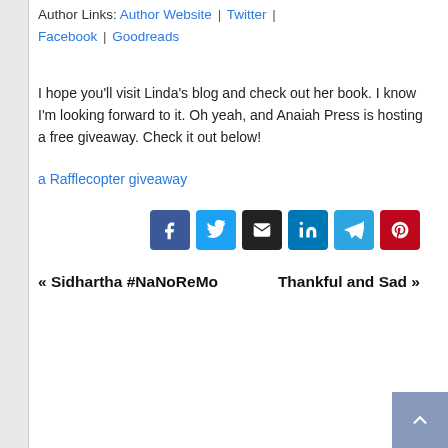Author Links: Author Website | Twitter | Facebook | Goodreads
I hope you'll visit Linda's blog and check out her book. I know I'm looking forward to it. Oh yeah, and Anaiah Press is hosting a free giveaway. Check it out below!
a Rafflecopter giveaway
[Figure (other): Social share buttons: Facebook, Twitter, Email, LinkedIn, Telegram, Pinterest]
« Sidhartha #NaNoReMo
Thankful and Sad »